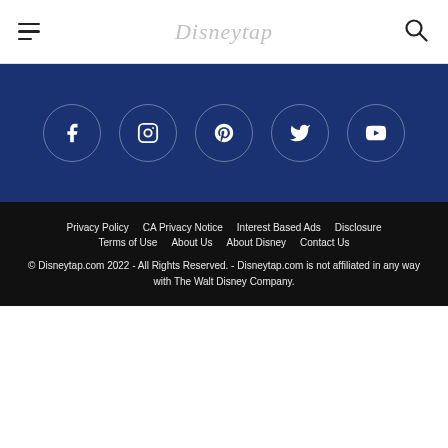Disneytap
[Figure (infographic): Social media icons bar on dark blue background: Facebook, Instagram, Pinterest, Twitter, YouTube]
Privacy Policy   CA Privacy Notice   Interest Based Ads   Disclosure   Terms of Use   About Us   About Disney   Contact Us

© Disneytap.com 2022 - All Rights Reserved. - Disneytap.com is not affiliated in any way with The Walt Disney Company.